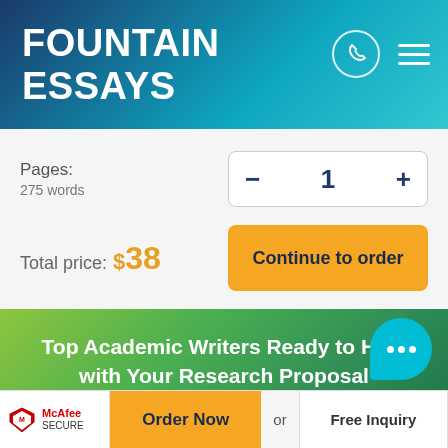FOUNTAIN ESSAYS
Pages:
275 words
1
Total price: $38
Continue to order
Top Academic Writers Ready to Help with Your Research Proposal
McAfee SECURE
Order Now
or
Free Inquiry